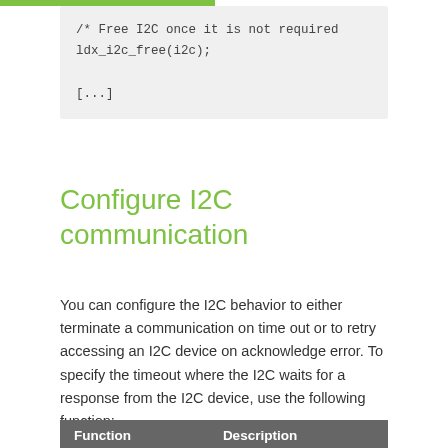/* Free I2C once it is not required
ldx_i2c_free(i2c);

[...]
Configure I2C communication
You can configure the I2C behavior to either terminate a communication on time out or to retry accessing an I2C device on acknowledge error. To specify the timeout where the I2C waits for a response from the I2C device, use the following function:
| Function | Description |
| --- | --- |